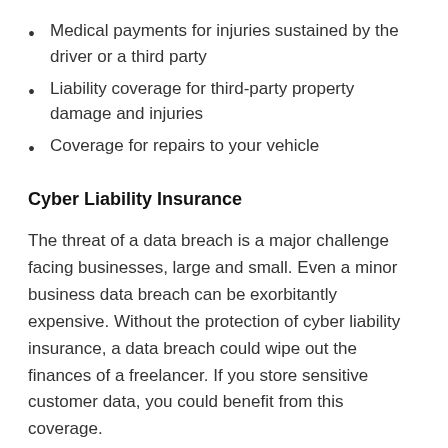Medical payments for injuries sustained by the driver or a third party
Liability coverage for third-party property damage and injuries
Coverage for repairs to your vehicle
Cyber Liability Insurance
The threat of a data breach is a major challenge facing businesses, large and small. Even a minor business data breach can be exorbitantly expensive. Without the protection of cyber liability insurance, a data breach could wipe out the finances of a freelancer. If you store sensitive customer data, you could benefit from this coverage.